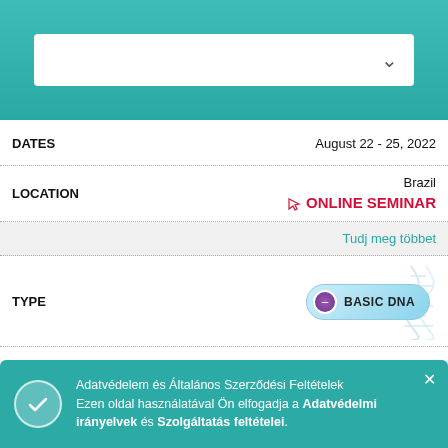[Figure (screenshot): Teal header bar with white dropdown selector box and chevron arrow]
| Field | Value |
| --- | --- |
| DATES | August 22 - 25, 2022 |
| LOCATION | Brazil / ONLINE SEMINAR |
|  | Tudj meg többet |
| TYPE | BASIC DNA |
| INSTRUCTOR | Sanaiyah Keswani-Gurnamal |
| DATES | August 22 - 26, 2022 |
| LOCATION | Philippines |
Adatvédelem és Általános Szerződési Feltételek Ezen oldal használatával Ön elfogadja a Adatvédelmi irányelvek és Szolgáltatás feltételei.